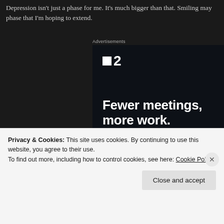Depression isn't just a phase for me. It's much bigger than that. Smiling may phase that I'm hoping to extend.
Advertisements
[Figure (screenshot): Advertisement for a project management tool (T2 / Twist or similar). Dark navy background with white T2 logo, bold headline 'Fewer meetings, more work.' and a 'Get started for free' CTA button with rounded border.]
Privacy & Cookies: This site uses cookies. By continuing to use this website, you agree to their use.
To find out more, including how to control cookies, see here: Cookie Policy
Close and accept